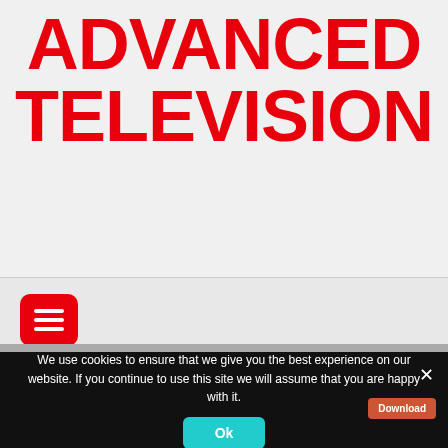ADVANCED TELEVISION
[Figure (screenshot): Amagi advertisement banner: blue background with text 'amagi UNIFIED BROADCAST WORKFLOWS An Amagi Whitepaper' and a Download button, with a light-streak highway night photo on the right]
[Figure (other): Red rounded-square hamburger/menu button icon with three white horizontal lines]
We use cookies to ensure that we give you the best experience on our website. If you continue to use this site we will assume that you are happy with it.
Ok